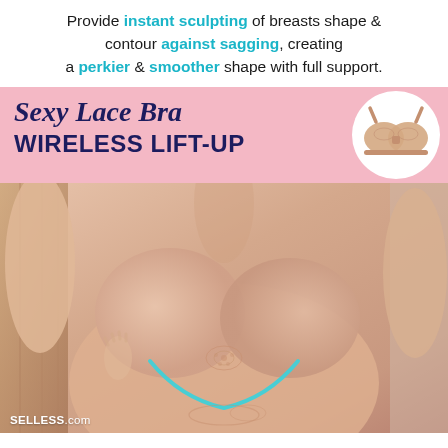Provide instant sculpting of breasts shape & contour against sagging, creating a perkier & smoother shape with full support.
[Figure (infographic): Product advertisement for Sexy Lace Bra Wireless Lift-Up. Pink banner with cursive and bold text, circular inset image of a beige wireless bra on the right. Below is a photo of a woman wearing a smooth beige bra with a cyan/teal V-shaped wireframe highlight at the underwire area and lace detailing visible at the bottom center. SELLESS.com watermark at bottom left.]